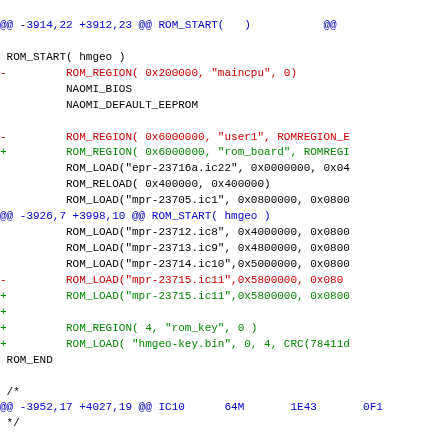@@ -3914,22 +3912,23 @@ ROM_START( ... )
ROM_START( hmgeo )
- ROM_REGION( 0x200000, "maincpu", 0)
 NAOMI_BIOS
 NAOMI_DEFAULT_EEPROM

- ROM_REGION( 0x6000000, "user1", ROMREGION_E
+ ROM_REGION( 0x6000000, "rom_board", ROMREGI
 ROM_LOAD("epr-23716a.ic22", 0x0000000, 0x04
 ROM_RELOAD( 0x400000, 0x400000)
 ROM_LOAD("mpr-23705.ic1", 0x0800000, 0x0800
@@ -3926,7 +3998,10 @@ ROM_START( hmgeo )
 ROM_LOAD("mpr-23712.ic8", 0x4000000, 0x0800
 ROM_LOAD("mpr-23713.ic9", 0x4800000, 0x0800
 ROM_LOAD("mpr-23714.ic10",0x5000000, 0x0800
- ROM_LOAD("mpr-23715.ic11",0x5800000, 0x080
+ ROM_LOAD("mpr-23715.ic11",0x5800000, 0x0800
+
+ ROM_REGION( 4, "rom_key", 0 )
+ ROM_LOAD( "hmgeo-key.bin", 0, 4, CRC(78411d
 ROM_END

 /*
@@ -3952,17 +4027,19 @@ IC10 64M 1E43 0F1
 */

ROM_START( gwing2 )
- ROM_REGION( 0x200000, "maincpu", 0)
 NAOMI_BIOS